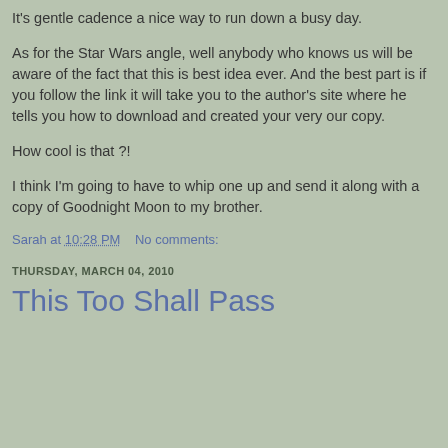It's gentle cadence a nice way to run down a busy day.
As for the Star Wars angle, well anybody who knows us will be aware of the fact that this is best idea ever. And the best part is if you follow the link it will take you to the author's site where he tells you how to download and created your very our copy.
How cool is that ?!
I think I'm going to have to whip one up and send it along with a copy of Goodnight Moon to my brother.
Sarah at 10:28 PM    No comments:
THURSDAY, MARCH 04, 2010
This Too Shall Pass